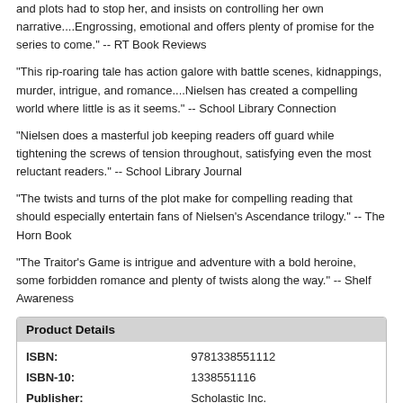and plots had to stop her, and insists on controlling her own narrative....Engrossing, emotional and offers plenty of promise for the series to come." -- RT Book Reviews
"This rip-roaring tale has action galore with battle scenes, kidnappings, murder, intrigue, and romance....Nielsen has created a compelling world where little is as it seems." -- School Library Connection
"Nielsen does a masterful job keeping readers off guard while tightening the screws of tension throughout, satisfying even the most reluctant readers." -- School Library Journal
"The twists and turns of the plot make for compelling reading that should especially entertain fans of Nielsen's Ascendance trilogy." -- The Horn Book
"The Traitor's Game is intrigue and adventure with a bold heroine, some forbidden romance and plenty of twists along the way." -- Shelf Awareness
| Product Details |
| --- |
| ISBN: | 9781338551112 |
| ISBN-10: | 1338551116 |
| Publisher: | Scholastic Inc. |
| Publication Date: | September 7th, 2021 |
| Pages: | 482 |